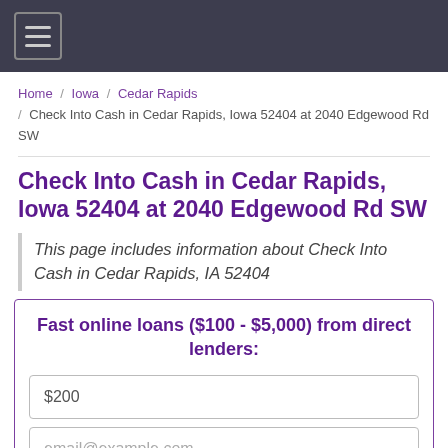Navigation header with hamburger menu
Home / Iowa / Cedar Rapids / Check Into Cash in Cedar Rapids, Iowa 52404 at 2040 Edgewood Rd SW
Check Into Cash in Cedar Rapids, Iowa 52404 at 2040 Edgewood Rd SW
This page includes information about Check Into Cash in Cedar Rapids, IA 52404
Fast online loans ($100 - $5,000) from direct lenders:
$200
email@example.com